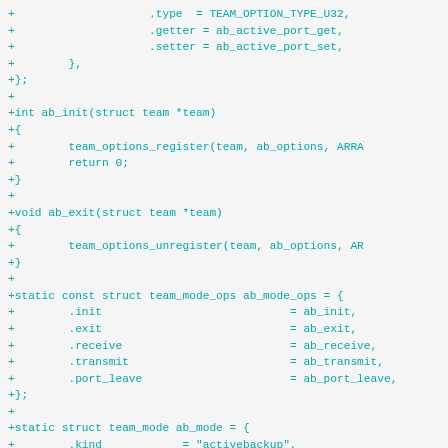[Figure (screenshot): Code diff snippet showing C source code additions (lines prefixed with '+') for an active-backup team mode implementation, including ab_init, ab_exit, ab_mode_ops struct, and ab_mode struct definitions, rendered in teal monospace font on light gray background.]